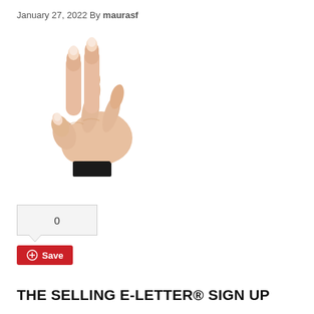January 27, 2022 By maurasf
[Figure (photo): A hand with index and middle fingers raised in a pinching or two-finger gesture, white background, person wearing a dark sleeve at wrist.]
0
Save
THE SELLING E-LETTER® SIGN UP